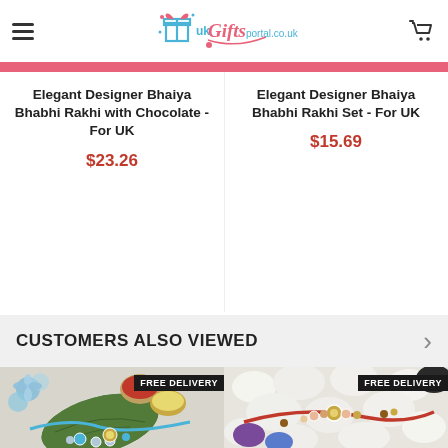UK Gifts Portal - ukgiftsportal.co.uk
Elegant Designer Bhaiya Bhabhi Rakhi with Chocolate - For UK
$23.26
Elegant Designer Bhaiya Bhabhi Rakhi Set - For UK
$15.69
CUSTOMERS ALSO VIEWED
[Figure (photo): Rakhi bracelet with blue beads on a green leaf, with red kumkum and roli bowls, and blue flowers in background. FREE DELIVERY badge.]
[Figure (photo): Rakhi bracelet with red thread and pearl/gold beads on white and colorful stones background. FREE DELIVERY badge.]